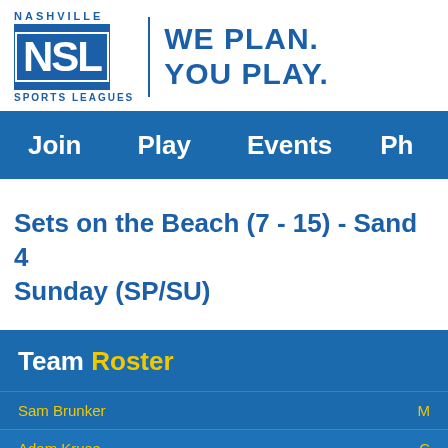[Figure (logo): Nashville NSL Sports Leagues logo with NSL block letters and tagline WE PLAN. YOU PLAY.]
Join  Play  Events  Ph...
Sets on the Beach (7 - 15) - Sand 4 Sunday (SP/SU)
Team Roster
Sam Brunker
Adam Kruse